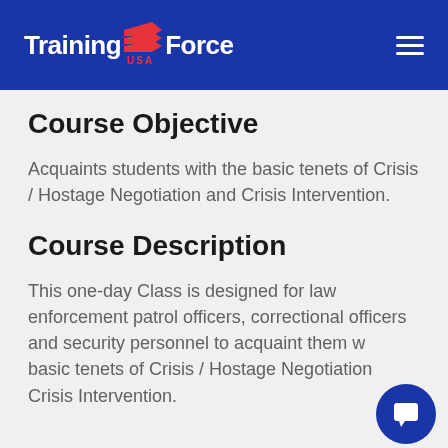[Figure (logo): Training Force USA logo with red chevron/flag icon, white text on dark blue header background]
Course Objective
Acquaints students with the basic tenets of Crisis / Hostage Negotiation and Crisis Intervention.
Course Description
This one-day Class is designed for law enforcement patrol officers, correctional officers and security personnel to acquaint them with basic tenets of Crisis / Hostage Negotiation and Crisis Intervention.